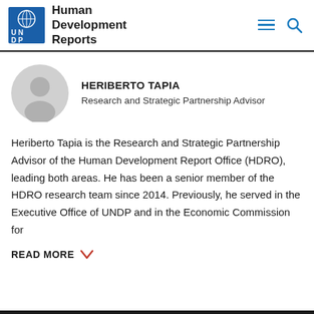Human Development Reports
[Figure (logo): UNDP logo with globe emblem and blue UN/DP letters]
HERIBERTO TAPIA
Research and Strategic Partnership Advisor
Heriberto Tapia is the Research and Strategic Partnership Advisor of the Human Development Report Office (HDRO), leading both areas. He has been a senior member of the HDRO research team since 2014. Previously, he served in the Executive Office of UNDP and in the Economic Commission for
READ MORE